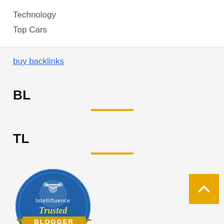Technology
Top Cars
buy backlinks
BL
TL
[Figure (logo): Intellifluence Trusted Blogger badge — circular blue badge with gold ribbon banner reading BLOGGER]
Related Article